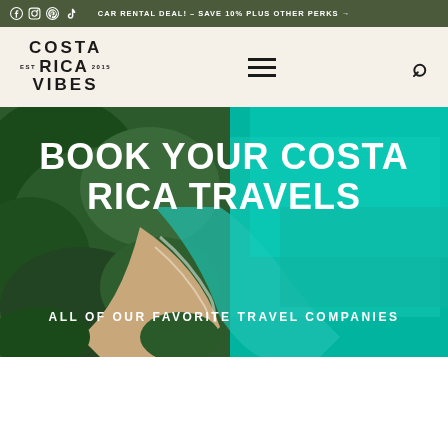CAR RENTAL DEAL! – SAVE 10% PLUS OTHER PERKS →
[Figure (logo): Costa Rica Vibes logo with stylized text]
[Figure (screenshot): Aerial view of Costa Rica coastline with turquoise water and green jungle]
BOOK YOUR COSTA RICA TRAVELS
ALL OF OUR FAVORITE TRAVEL COMPANIES